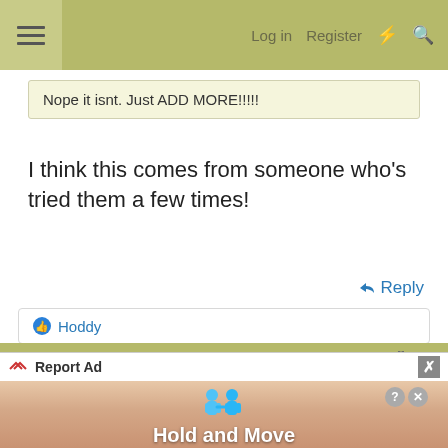Log in  Register
Nope it isnt. Just ADD MORE!!!!!
I think this comes from someone who's tried them a few times!
Reply
Hoddy
Mar 8, 2019  #12
Hoddy
General lurker........
Report Ad
Hold and Move